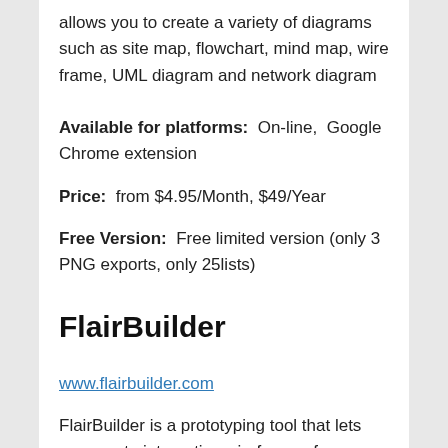allows you to create a variety of diagrams such as site map, flowchart, mind map, wire frame, UML diagram and network diagram
Available for platforms:  On-line,  Google Chrome extension
Price:  from $4.95/Month, $49/Year
Free Version:  Free limited version (only 3 PNG exports, only 25lists)
FlairBuilder
www.flairbuilder.com
FlairBuilder is a prototyping tool that lets you create interactive wireframes for websites and